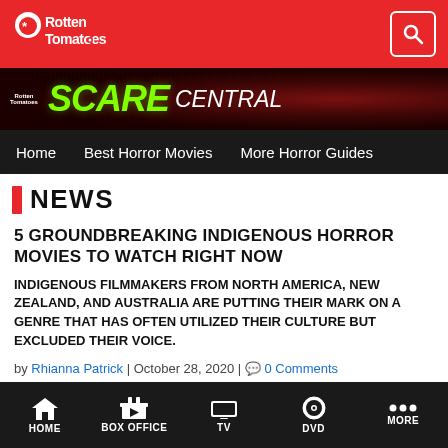Rotten Tomatoes
[Figure (illustration): Rotten Tomatoes Scare Central banner with green grunge text on dark red background]
Home | Best Horror Movies | More Horror Guides
NEWS
5 GROUNDBREAKING INDIGENOUS HORROR MOVIES TO WATCH RIGHT NOW
INDIGENOUS FILMMAKERS FROM NORTH AMERICA, NEW ZEALAND, AND AUSTRALIA ARE PUTTING THEIR MARK ON A GENRE THAT HAS OFTEN UTILIZED THEIR CULTURE BUT EXCLUDED THEIR VOICE.
by Rhianna Patrick | October 28, 2020 | 0 Comments
HOME | BOX OFFICE | TV | DVD | MORE